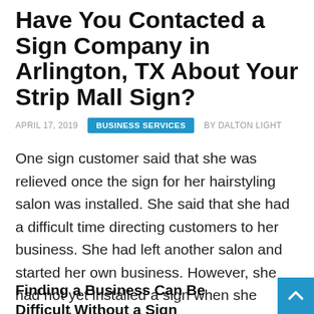Have You Contacted a Sign Company in Arlington, TX About Your Strip Mall Sign?
APRIL 17, 2019   BUSINESS SERVICES   BY DALTON LIGHT
One sign customer said that she was relieved once the sign for her hairstyling salon was installed. She said that she had a difficult time directing customers to her business. She had left another salon and started her own business. However, she had not yet installed a sign when she opened her doors.
Finding a Business Can Be Difficult Without a Sign